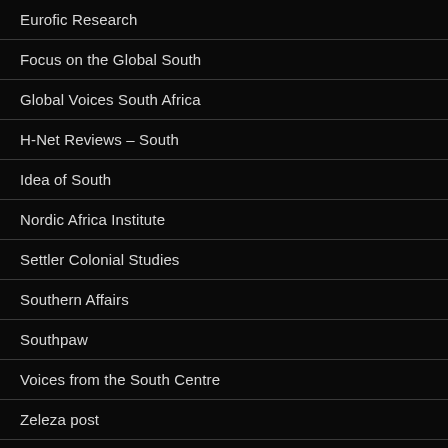Eurofic Research
Focus on the Global South
Global Voices South Africa
H-Net Reviews – South
Idea of South
Nordic Africa Institute
Settler Colonial Studies
Southern Affairs
Southpaw
Voices from the South Centre
Zeleza post